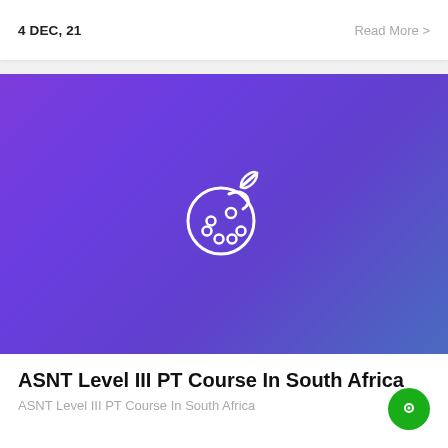4 DEC, 21
Read More >
[Figure (illustration): Purple to blue gradient banner with a white paint palette and brush icon in the center]
ASNT Level III PT Course In South Africa
ASNT Level III PT Course In South Africa